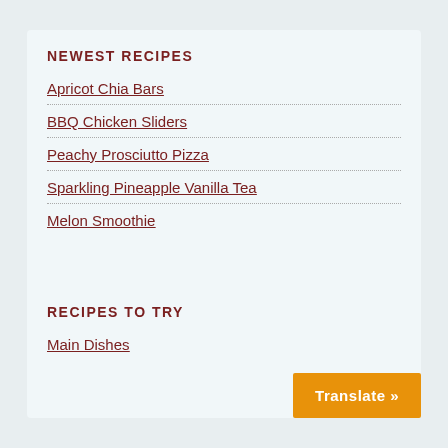NEWEST RECIPES
Apricot Chia Bars
BBQ Chicken Sliders
Peachy Prosciutto Pizza
Sparkling Pineapple Vanilla Tea
Melon Smoothie
RECIPES TO TRY
Main Dishes